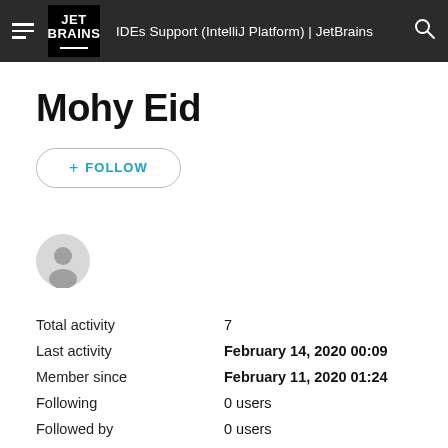IDEs Support (IntelliJ Platform) | JetBrains
Mohy Eid
+ FOLLOW
[Figure (illustration): Default user avatar circle icon with generic person silhouette, grey background]
|  |  |
| --- | --- |
| Total activity | 7 |
| Last activity | February 14, 2020 00:09 |
| Member since | February 11, 2020 01:24 |
| Following | 0 users |
| Followed by | 0 users |